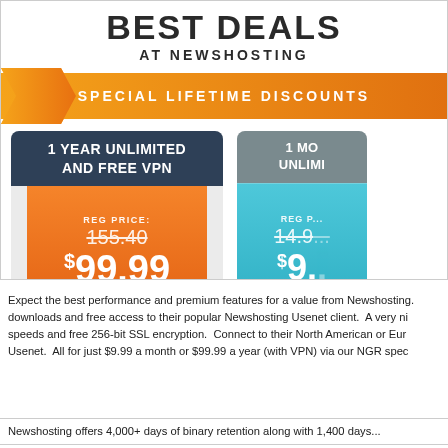BEST DEALS AT NEWSHOSTING
SPECIAL LIFETIME DISCOUNTS
[Figure (infographic): Pricing card: 1 YEAR UNLIMITED AND FREE VPN. Reg Price: 155.40, Sale Price: $99.99. Button: GET 1 YEAR. Free VPN Service!]
[Figure (infographic): Pricing card (partial): 1 MONTH UNLIMITED. Reg Price: 14.95, Sale Price: $9.99. Button: GET 1 M. Add VPN Serv...]
Expect the best performance and premium features for a value from Newshosting. downloads and free access to their popular Newshosting Usenet client.  A very ni speeds and free 256-bit SSL encryption.  Connect to their North American or Eur Usenet.  All for just $9.99 a month or $99.99 a year (with VPN) via our NGR spec
Newshosting offers 4,000+ days of binary retention along with 1,400 days...